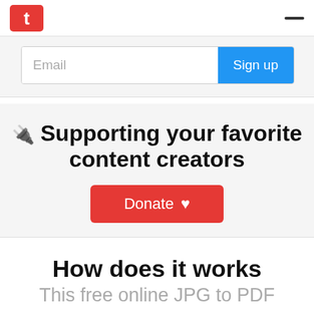[Figure (logo): Red square logo icon with white letter P in top-left header]
Email
Sign up
Supporting your favorite content creators
Donate ♥
How does it works
This free online JPG to PDF